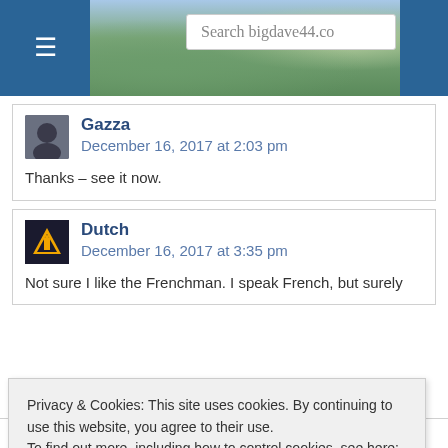Search bigdave44.co
Gazza
December 16, 2017 at 2:03 pm
Thanks – see it now.
Dutch
December 16, 2017 at 3:35 pm
Not sure I like the Frenchman. I speak French, but surely
Privacy & Cookies: This site uses cookies. By continuing to use this website, you agree to their use.
To find out more, including how to control cookies, see here: Cookie Policy
which doesn't seem to be the case here, i should add